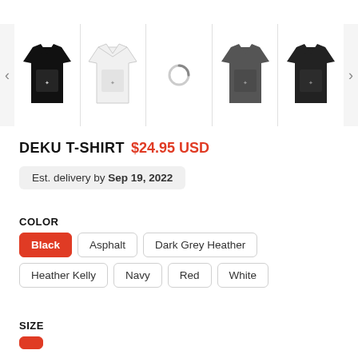[Figure (screenshot): Product image gallery showing 5 thumbnail t-shirt images: black t-shirt, white t-shirt, loading spinner, dark grey t-shirt, very dark t-shirt. With left and right navigation arrows.]
DEKU T-SHIRT $24.95 USD
Est. delivery by Sep 19, 2022
COLOR
Black
Asphalt
Dark Grey Heather
Heather Kelly
Navy
Red
White
SIZE